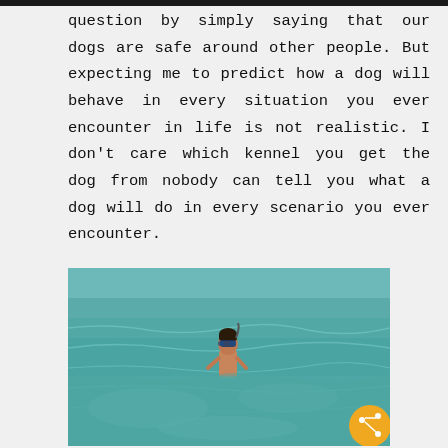question by simply saying that our dogs are safe around other people. But expecting me to predict how a dog will behave in every situation you ever encounter in life is not realistic. I don't care which kennel you get the dog from nobody can tell you what a dog will do in every scenario you ever encounter.
[Figure (photo): A child wearing snorkeling goggles standing in shallow turquoise ocean water. An orange share button is overlaid in the bottom-right corner of the image.]